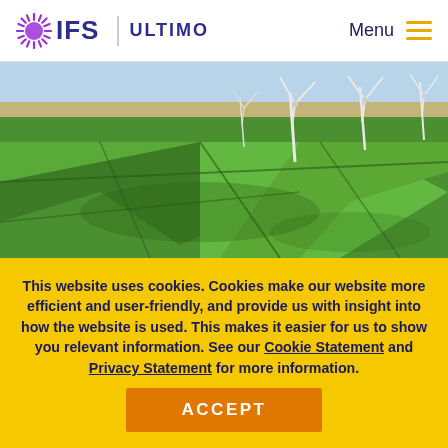IFS Ultimo | Menu
[Figure (photo): Aerial view of green agricultural fields with wind turbines in the background under a clear sky.]
This website uses cookies. Cookies make our website more efficient and user-friendly, and provide us with insight into how the website is used. This makes it easier for us to show you relevant information. See our Cookie Statement and Privacy Statement for more information.
ACCEPT